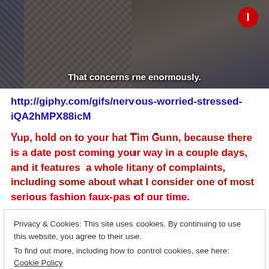[Figure (screenshot): Screenshot of a man in a suit adjusting his tie/collar, with subtitle text 'That concerns me enormously.' and a red circular logo in the top right corner. Dark background screenshot from a TV show or video.]
http://giphy.com/gifs/nervous-worried-stressed-iQA2hMPX88icM
Yup, hold on to your hat Tim Gunn, because there is a date post coming your way in a couple days, and it features  a whole litany of complaints, including some about what I consider one of most serious fashion faux-pas of our time.
Privacy & Cookies: This site uses cookies. By continuing to use this website, you agree to their use.
To find out more, including how to control cookies, see here: Cookie Policy
Close and accept
I'd use a few minutes on the mic to run an idea by you